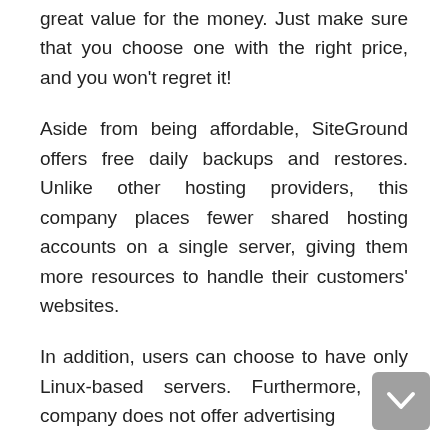great value for the money. Just make sure that you choose one with the right price, and you won't regret it!
Aside from being affordable, SiteGround offers free daily backups and restores. Unlike other hosting providers, this company places fewer shared hosting accounts on a single server, giving them more resources to handle their customers' websites.
In addition, users can choose to have only Linux-based servers. Furthermore, the company does not offer advertising